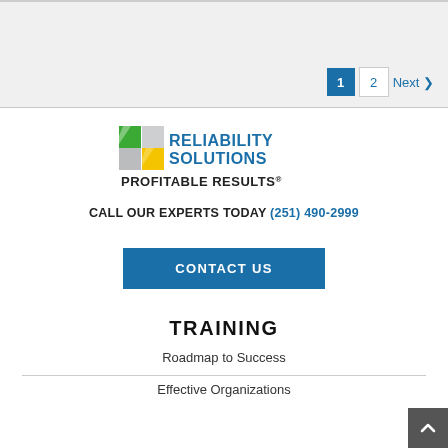Pagination: 1, 2, Next
[Figure (logo): Reliability Solutions Profitable Results logo with green, yellow, and gray diamond shapes]
CALL OUR EXPERTS TODAY (251) 490-2999
CONTACT US
TRAINING
Roadmap to Success
Effective Organizations